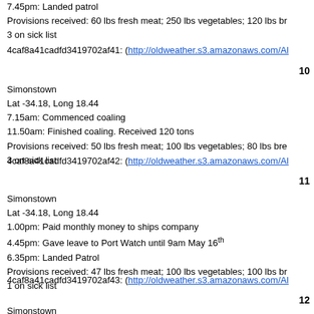7.45pm: Landed patrol
Provisions received: 60 lbs fresh meat; 250 lbs vegetables; 120 lbs br...
3 on sick list
4caf8a41cadfd3419702af41: (http://oldweather.s3.amazonaws.com/Al...)
10
Simonstown
Lat -34.18, Long 18.44
7.15am: Commenced coaling
11.50am: Finished coaling. Received 120 tons
Provisions received: 50 lbs fresh meat; 100 lbs vegetables; 80 lbs brea...
3 on sick list
4caf8a41cadfd3419702af42: (http://oldweather.s3.amazonaws.com/Al...)
11
Simonstown
Lat -34.18, Long 18.44
1.00pm: Paid monthly money to ships company
4.45pm: Gave leave to Port Watch until 9am May 16th
6.35pm: Landed Patrol
Provisions received: 47 lbs fresh meat; 100 lbs vegetables; 100 lbs br...
1 on sick list
4caf8a41cadfd3419702af43: (http://oldweather.s3.amazonaws.com/Al...)
12
Simonstown
Lat -34.18, Long 18.44
9.00am: Hands employed working ammunition & provisions